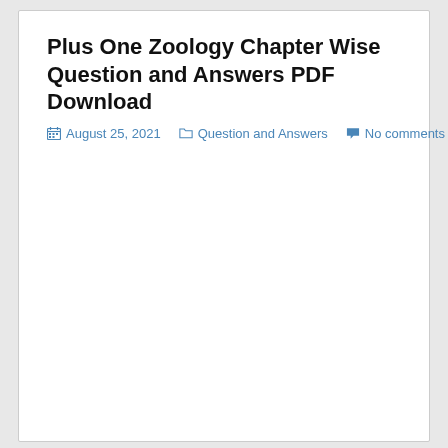Plus One Zoology Chapter Wise Question and Answers PDF Download
August 25, 2021  Question and Answers  No comments